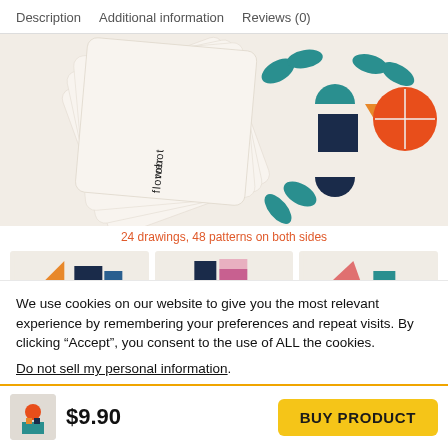Description   Additional information   Reviews (0)
[Figure (photo): Fan of cream/white cards showing geometric robot flower design with teal, orange, dark blue shapes. Text 'robot flower' visible on card edge.]
24 drawings, 48 patterns on both sides
[Figure (photo): Three thumbnail images of card pattern designs showing colorful geometric shapes on cream background.]
We use cookies on our website to give you the most relevant experience by remembering your preferences and repeat visits. By clicking “Accept”, you consent to the use of ALL the cookies.
Do not sell my personal information.
$9.90
BUY PRODUCT